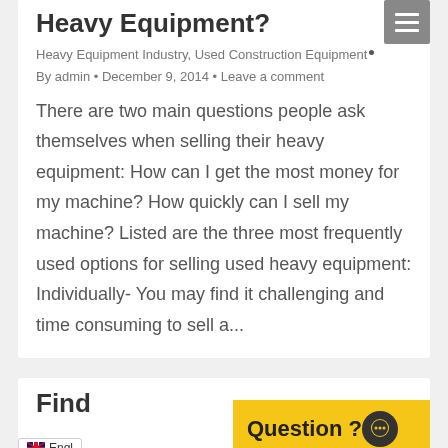Heavy Equipment?
Heavy Equipment Industry, Used Construction Equipment
By admin • December 9, 2014 • Leave a comment
There are two main questions people ask themselves when selling their heavy equipment: How can I get the most money for my machine? How quickly can I sell my machine? Listed are the three most frequently used options for selling used heavy equipment: Individually- You may find it challenging and time consuming to sell a...
Find
Question ?
Engl